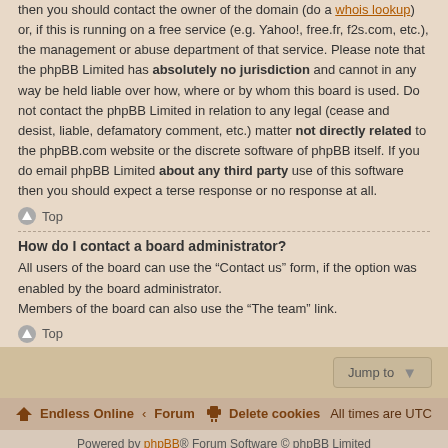then you should contact the owner of the domain (do a whois lookup) or, if this is running on a free service (e.g. Yahoo!, free.fr, f2s.com, etc.), the management or abuse department of that service. Please note that the phpBB Limited has absolutely no jurisdiction and cannot in any way be held liable over how, where or by whom this board is used. Do not contact the phpBB Limited in relation to any legal (cease and desist, liable, defamatory comment, etc.) matter not directly related to the phpBB.com website or the discrete software of phpBB itself. If you do email phpBB Limited about any third party use of this software then you should expect a terse response or no response at all.
Top
How do I contact a board administrator?
All users of the board can use the “Contact us” form, if the option was enabled by the board administrator.
Members of the board can also use the “The team” link.
Top
Jump to
Endless Online ‹ Forum   Delete cookies   All times are UTC
Powered by phpBB® Forum Software © phpBB Limited